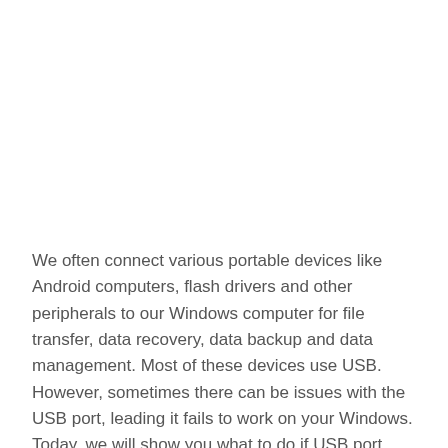We often connect various portable devices like Android computers, flash drivers and other peripherals to our Windows computer for file transfer, data recovery, data backup and data management. Most of these devices use USB. However, sometimes there can be issues with the USB port, leading it fails to work on your Windows. Today, we will show you what to do if USB port cannot work on Win 10.